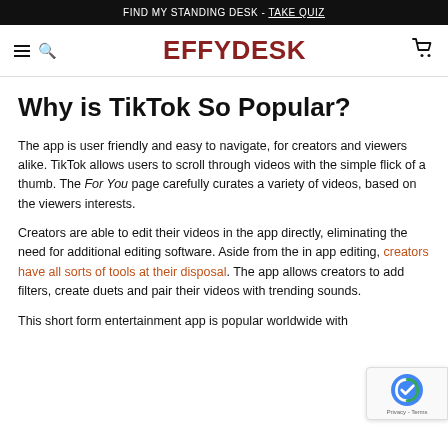FIND MY STANDING DESK - TAKE QUIZ
EFFYDESK
Why is TikTok So Popular?
The app is user friendly and easy to navigate, for creators and viewers alike. TikTok allows users to scroll through videos with the simple flick of a thumb. The For You page carefully curates a variety of videos, based on the viewers interests.
Creators are able to edit their videos in the app directly, eliminating the need for additional editing software. Aside from the in app editing, creators have all sorts of tools at their disposal. The app allows creators to add filters, create duets and pair their videos with trending sounds.
This short form entertainment app is popular worldwide with